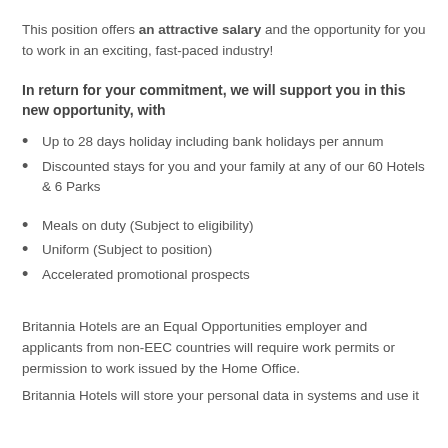This position offers an attractive salary and the opportunity for you to work in an exciting, fast-paced industry!
In return for your commitment, we will support you in this new opportunity, with
Up to 28 days holiday including bank holidays per annum
Discounted stays for you and your family at any of our 60 Hotels & 6 Parks
Meals on duty (Subject to eligibility)
Uniform (Subject to position)
Accelerated promotional prospects
Britannia Hotels are an Equal Opportunities employer and applicants from non-EEC countries will require work permits or permission to work issued by the Home Office.
Britannia Hotels will store your personal data in systems and use it